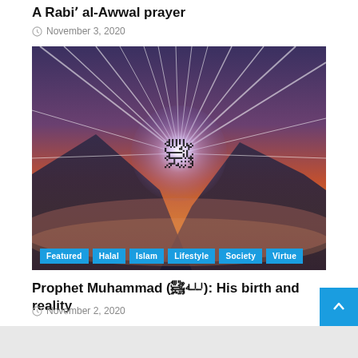A Rabi' al-Awwal prayer
November 3, 2020
[Figure (photo): Dramatic sunset sky over mountains with radiant light burst in the center containing Arabic calligraphy of Muhammad (ﷺ). Tags: Featured, Halal, Islam, Lifestyle, Society, Virtue]
Prophet Muhammad (ﷺ): His birth and reality
November 2, 2020